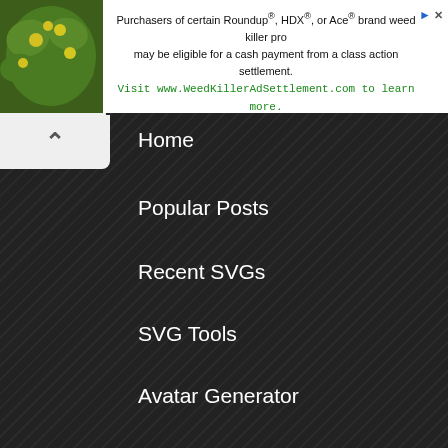[Figure (screenshot): Advertisement banner for Roundup/HDX/Ace weed killer class action settlement with plant photo on left]
Purchasers of certain Roundup®, HDX®, or Ace® brand weed killer products may be eligible for a cash payment from a class action settlement. Visit www.WeedKillerAdSettlement.com to learn more.
Home
Popular Posts
Recent SVGs
SVG Tools
Avatar Generator
SVG Patterns
Design Your Own SVG Product
ABOUT CUT THAT DESIGN
Cut That Design is a site bringing Free Cutting Files for the Hobby Crafter who